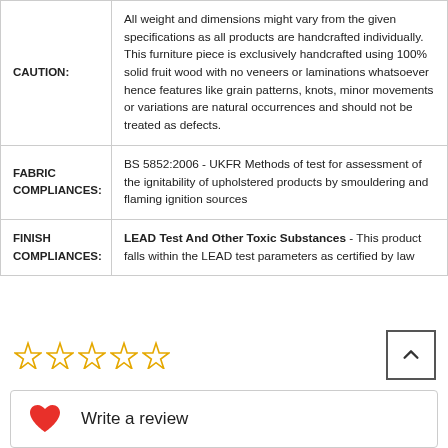|  |  |
| --- | --- |
| CAUTION: | All weight and dimensions might vary from the given specifications as all products are handcrafted individually. This furniture piece is exclusively handcrafted using 100% solid fruit wood with no veneers or laminations whatsoever hence features like grain patterns, knots, minor movements or variations are natural occurrences and should not be treated as defects. |
| FABRIC COMPLIANCES: | BS 5852:2006 - UKFR Methods of test for assessment of the ignitability of upholstered products by smouldering and flaming ignition sources |
| FINISH COMPLIANCES: | LEAD Test And Other Toxic Substances - This product falls within the LEAD test parameters as certified by law |
[Figure (other): Five empty star rating icons in a row]
[Figure (other): Scroll to top button with upward chevron arrow]
Write a review